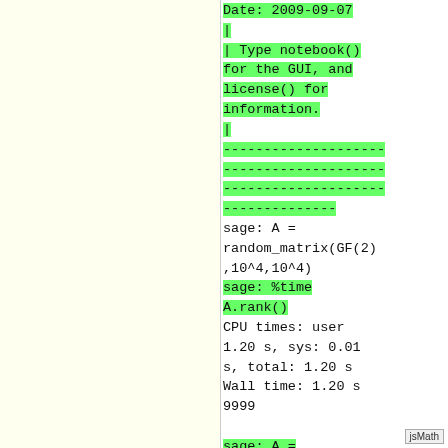Date: 2009-09-07
|
| Type notebook() for the GUI, and license() for information.
|
------------------------------------------------------------
sage: A = random_matrix(GF(2),10^4,10^4)
sage: %time A.rank()
CPU times: user 1.20 s, sys: 0.01 s, total: 1.20 s
Wall time: 1.20 s
9999

sage: A = random_matrix(GF(2),2*10^4,2*10^4)
sage: %time